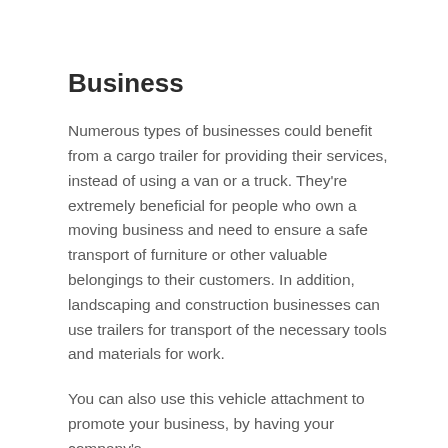Business
Numerous types of businesses could benefit from a cargo trailer for providing their services, instead of using a van or a truck. They're extremely beneficial for people who own a moving business and need to ensure a safe transport of furniture or other valuable belongings to their customers. In addition, landscaping and construction businesses can use trailers for transport of the necessary tools and materials for work.
You can also use this vehicle attachment to promote your business, by having your company's